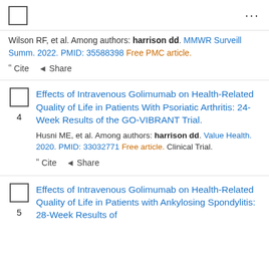Wilson RF, et al. Among authors: harrison dd. MMWR Surveill Summ. 2022. PMID: 35588398 Free PMC article.
Cite  Share
Effects of Intravenous Golimumab on Health-Related Quality of Life in Patients With Psoriatic Arthritis: 24-Week Results of the GO-VIBRANT Trial.
Husni ME, et al. Among authors: harrison dd. Value Health. 2020. PMID: 33032771 Free article. Clinical Trial.
Cite  Share
Effects of Intravenous Golimumab on Health-Related Quality of Life in Patients with Ankylosing Spondylitis: 28-Week Results of